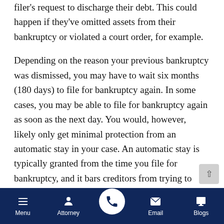filer's request to discharge their debt. This could happen if they've omitted assets from their bankruptcy or violated a court order, for example.
Depending on the reason your previous bankruptcy was dismissed, you may have to wait six months (180 days) to file for bankruptcy again. In some cases, you may be able to file for bankruptcy again as soon as the next day. You would, however, likely only get minimal protection from an automatic stay in your case. An automatic stay is typically granted from the time you file for bankruptcy, and it bars creditors from trying to collect debts from you during the bankruptcy. If you file for bankruptcy again than a year after a previous bankruptcy dismissal, you'll
Menu | Attorney | (phone) | Email | Blogs